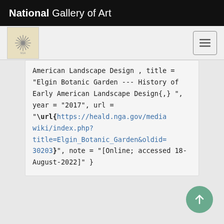National Gallery of Art
[Figure (logo): National Gallery of Art sunburst/asterisk logo icon in beige square]
American Landscape Design ,
    title = "Elgin Botanic Garden --- History of Early American Landscape Design{,} ",
    year = "2017",
    url =
"\url{https://heald.nga.gov/mediawiki/index.php?title=Elgin_Botanic_Garden&oldid=30203}",
    note = "[Online; accessed 18-August-2022]"
  }